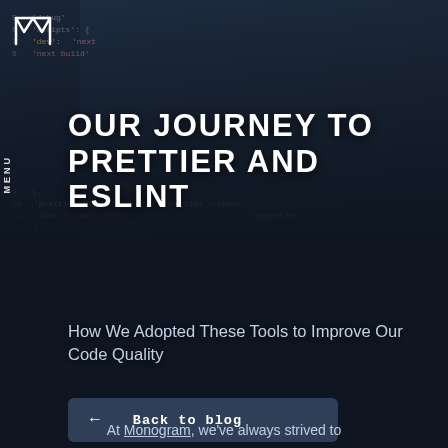[Figure (screenshot): Dark background showing code editor with JavaScript/JSON configuration code visible, with syntax highlighting in amber, red, and green colors]
MENU
OUR JOURNEY TO PRETTIER AND ESLINT
How We Adopted These Tools to Improve Our Code Quality
← Back to blog
At Monogram, we've always strived to